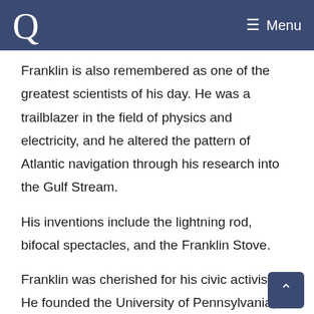Q Menu
Franklin is also remembered as one of the greatest scientists of his day. He was a trailblazer in the field of physics and electricity, and he altered the pattern of Atlantic navigation through his research into the Gulf Stream.
His inventions include the lightning rod, bifocal spectacles, and the Franklin Stove.
Franklin was cherished for his civic activism. He founded the University of Pennsylvania, the